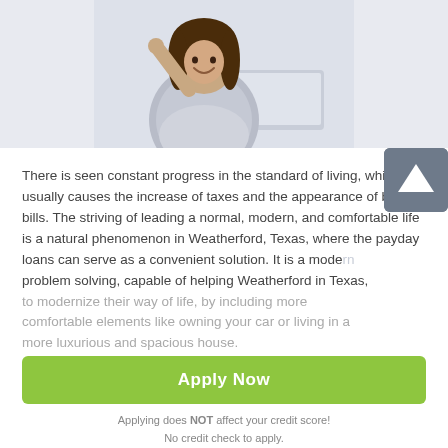[Figure (photo): Woman smiling and giving thumbs up while holding a laptop, on a light blue-grey background]
There is seen constant progress in the standard of living, which usually causes the increase of taxes and the appearance of bigger bills. The striving of leading a normal, modern, and comfortable life is a natural phenomenon in Weatherford, Texas, where the payday loans can serve as a convenient solution. It is a modern problem solving, capable of helping Weatherford in Texas, to modernize their way of life, by including more comfortable elements like owning your car or living in a more luxurious and spacious house.
Apply Now
Applying does NOT affect your credit score!
No credit check to apply.